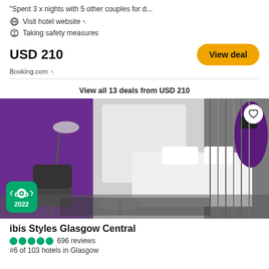"Spent 3 x nights with 5 other couples for d...
Visit hotel website ↗
Taking safety measures
USD 210
Booking.com ↗
View deal
View all 13 deals from USD 210
[Figure (photo): Hotel room at ibis Styles Glasgow Central with purple walls, black chair, white bed, grey curtains, and a TripAdvisor 2022 badge in the corner.]
ibis Styles Glasgow Central
696 reviews
#6 of 103 hotels in Glasgow